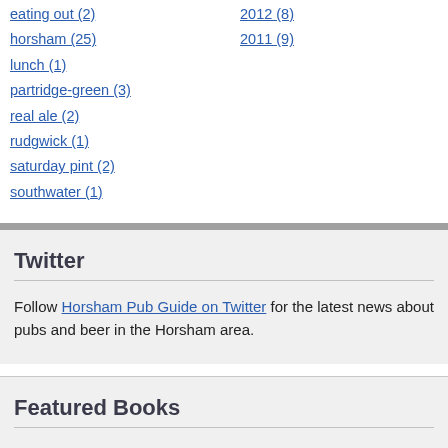eating out (2)
2012 (8)
horsham (25)
2011 (9)
lunch (1)
partridge-green (3)
real ale (2)
rudgwick (1)
saturday pint (2)
southwater (1)
Twitter
Follow Horsham Pub Guide on Twitter for the latest news about pubs and beer in the Horsham area.
Featured Books